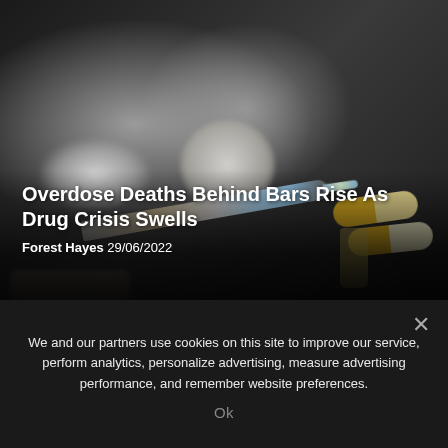[Figure (photo): Close-up photo of drug paraphernalia on a dark surface: white powder pile, circular disc/pill, syringe, yellow-white capsule pills, a small vial, and a gloved hand — all on a dark background. Article headline and byline overlaid at bottom.]
Overdose Deaths Behind Bars Rise As Drug Crisis Swells
Forest Hayes  29/06/2022
We and our partners use cookies on this site to improve our service, perform analytics, personalize advertising, measure advertising performance, and remember website preferences.
Ok